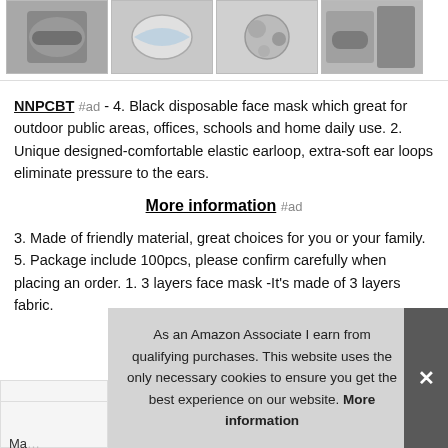[Figure (photo): Four thumbnail images of face masks in a horizontal strip at the top of the page]
NNPCBT #ad - 4. Black disposable face mask which great for outdoor public areas, offices, schools and home daily use. 2. Unique designed-comfortable elastic earloop, extra-soft ear loops eliminate pressure to the ears.
More information #ad
3. Made of friendly material, great choices for you or your family. 5. Package include 100pcs, please confirm carefully when placing an order. 1. 3 layers face mask -It's made of 3 layers fabric.
As an Amazon Associate I earn from qualifying purchases. This website uses the only necessary cookies to ensure you get the best experience on our website. More information